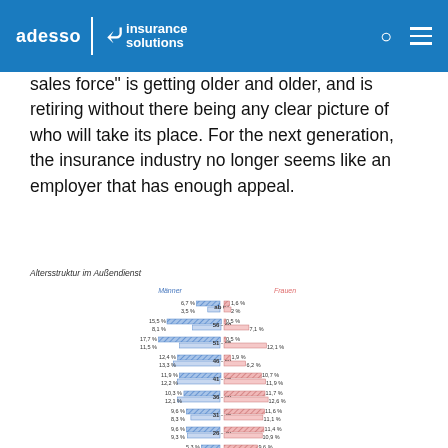adesso | insurance solutions
sales force" is getting older and older, and is retiring without there being any clear picture of who will take its place. For the next generation, the insurance industry no longer seems like an employer that has enough appeal.
Altersstruktur im Außendienst
[Figure (bar-chart): Horizontal grouped bar chart showing age structure (Altersstruktur) in external sales (Außendienst), split by gender: Männer (men, blue) and Frauen (women, pink), for age groups 21-25 through ab 61.]